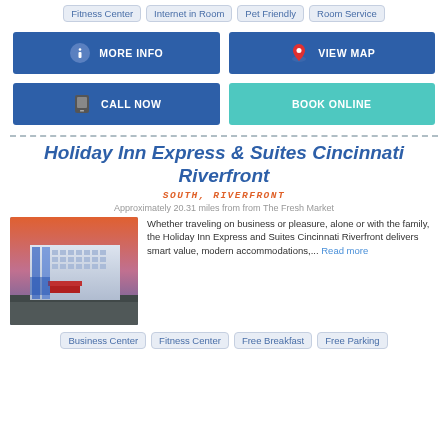Fitness Center   Internet in Room   Pet Friendly   Room Service
[Figure (infographic): Two rows of two buttons: MORE INFO (blue, info icon), VIEW MAP (blue, map pin icon), CALL NOW (blue, phone icon), BOOK ONLINE (teal)]
Holiday Inn Express & Suites Cincinnati Riverfront
SOUTH, RIVERFRONT
Approximately 20.31 miles from from The Fresh Market
[Figure (photo): Exterior photo of Holiday Inn Express & Suites Cincinnati Riverfront at dusk with blue lighting]
Whether traveling on business or pleasure, alone or with the family, the Holiday Inn Express and Suites Cincinnati Riverfront delivers smart value, modern accommodations,... Read more
Business Center   Fitness Center   Free Breakfast   Free Parking